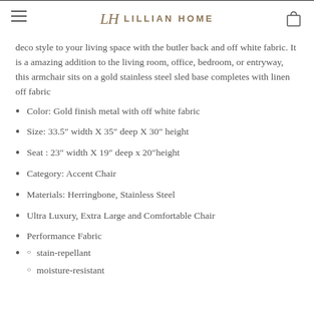LILLIAN HOME
deco style to your living space with the butler back and off white fabric. It is a amazing addition to the living room, office, bedroom, or entryway, this armchair sits on a gold stainless steel sled base completes with linen off fabric
Color: Gold finish metal with off white fabric
Size: 33.5" width X 35" deep X 30" height
Seat : 23" width X 19" deep x 20"height
Category: Accent Chair
Materials: Herringbone, Stainless Steel
Ultra Luxury, Extra Large and Comfortable Chair
Performance Fabric
stain-repellant
moisture-resistant